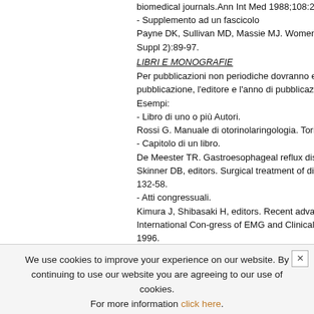biomedical journals.Ann Int Med 1988;108:258-65.
- Supplemento ad un fascicolo
Payne DK, Sullivan MD, Massie MJ. Women's psycholo Suppl 2):89-97.
LIBRI E MONOGRAFIE
Per pubblicazioni non periodiche dovranno essere i pubblicazione, l'editore e l'anno di pubblicazione. Esempi:
- Libro di uno o più Autori.
Rossi G. Manuale di otorinolaringologia. Torino: Ediz
- Capitolo di un libro.
De Meester TR. Gastroesophageal reflux disease. In: Skinner DB, editors. Surgical treatment of digestive d 132-58.
- Atti congressuali.
Kimura J, Shibasaki H, editors. Recent advances in cli International Con-gress of EMG and Clinical Neuroph 1996.
MATERIALE ELETTRONICO
Articolo standard di rivista su Internet
Kaul S, Diamond GA. Good enough: a primer on the Intern Med [Internet]. 2006 Jul 4 [cited 2007 Jan 4];145 http://www.annals.org/cgi/reprint/145/1/62.pdf
- Citazione standard di un libro su CD-ROM o DVD
Kacmarek RM. Advanced respiratory care [CD-ROM].
We use cookies to improve your experience on our website. By continuing to use our website you are agreeing to our use of cookies. For more information click here.